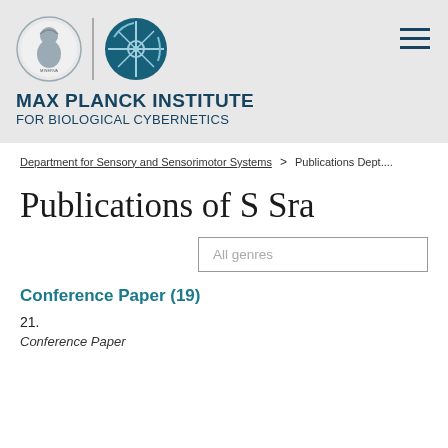[Figure (logo): Max Planck Institute for Biological Cybernetics header with Minerva medallion logo and MPG geometric logo, plus hamburger menu icon]
MAX PLANCK INSTITUTE FOR BIOLOGICAL CYBERNETICS
Department for Sensory and Sensorimotor Systems > Publications Dept....
Publications of S Sra
All genres
Conference Paper (19)
21.
Conference Paper